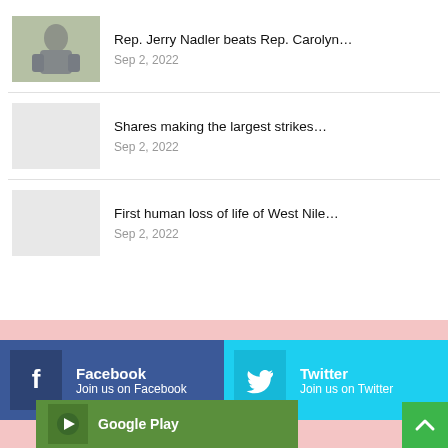[Figure (photo): Thumbnail photo of Rep. Jerry Nadler outdoors]
Rep. Jerry Nadler beats Rep. Carolyn…
Sep 2, 2022
[Figure (photo): Placeholder grey thumbnail image]
Shares making the largest strikes…
Sep 2, 2022
[Figure (photo): Placeholder grey thumbnail image]
First human loss of life of West Nile…
Sep 2, 2022
Facebook
Join us on Facebook
Twitter
Join us on Twitter
Google Play